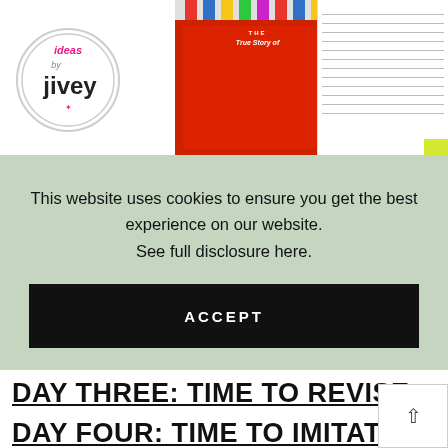[Figure (photo): Top portion of education blog page showing a logo circle with 'ideas by jivey' text, a red book/cover, and a lined notebook with yellow tab. Colorful pencils visible at top.]
This website uses cookies to ensure you get the best experience on our website.
See full disclosure here.
ACCEPT
DAY THREE: TIME TO REVISE
DAY FOUR: TIME TO IMITATE